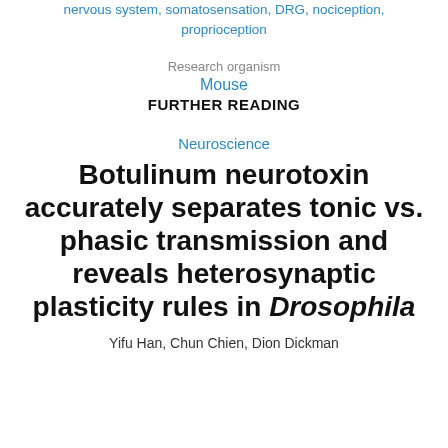nervous system, somatosensation, DRG, nociception, proprioception
Research organism
Mouse
FURTHER READING
Neuroscience
Botulinum neurotoxin accurately separates tonic vs. phasic transmission and reveals heterosynaptic plasticity rules in Drosophila
Yifu Han, Chun Chien, Dion Dickman